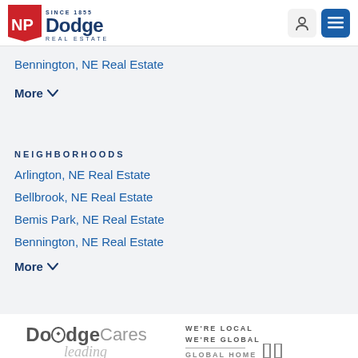NP Dodge Real Estate — SINCE 1855
Bennington, NE Real Estate
More
NEIGHBORHOODS
Arlington, NE Real Estate
Bellbrook, NE Real Estate
Bemis Park, NE Real Estate
Bennington, NE Real Estate
More
[Figure (logo): DodgeCares logo with heart icon in the letter o]
WE'RE LOCAL WE'RE GLOBAL
GLOBAL HOME SEARCH
[Figure (logo): Leading real estate italic script logo]
[Figure (logo): Two vertical pillars logo mark]